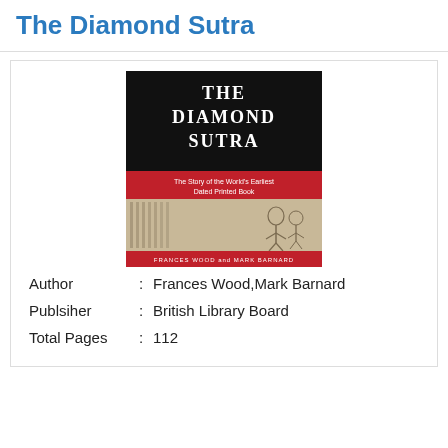The Diamond Sutra
[Figure (illustration): Book cover of 'The Diamond Sutra: The Story of the World's Earliest Dated Printed Book' by Frances Wood and Mark Barnard. Black top section with large white serif title text, red band with subtitle, and lower section showing an ancient Chinese printed scroll illustration with figures and Chinese characters. Bottom red band with authors' names.]
Author : Frances Wood,Mark Barnard
Publsiher : British Library Board
Total Pages : 112